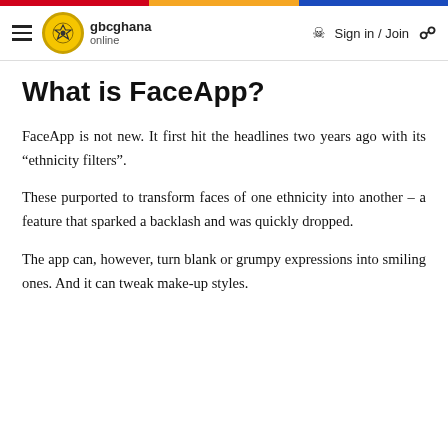gbcghana online | Sign in / Join
What is FaceApp?
FaceApp is not new. It first hit the headlines two years ago with its “ethnicity filters”.
These purported to transform faces of one ethnicity into another – a feature that sparked a backlash and was quickly dropped.
The app can, however, turn blank or grumpy expressions into smiling ones. And it can tweak make-up styles.